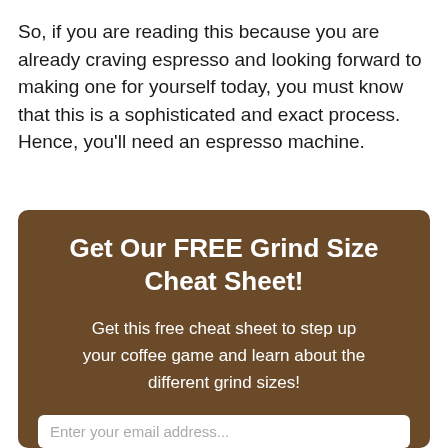So, if you are reading this because you are already craving espresso and looking forward to making one for yourself today, you must know that this is a sophisticated and exact process. Hence, you'll need an espresso machine.
Get Our FREE Grind Size Cheat Sheet!
Get this free cheat sheet to step up your coffee game and learn about the different grind sizes!